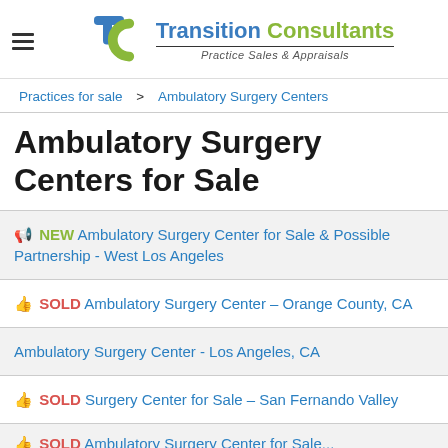[Figure (logo): Transition Consultants logo with TC emblem in blue and green, Practice Sales & Appraisals tagline]
Practices for sale > Ambulatory Surgery Centers
Ambulatory Surgery Centers for Sale
NEW Ambulatory Surgery Center for Sale & Possible Partnership - West Los Angeles
SOLD Ambulatory Surgery Center – Orange County, CA
Ambulatory Surgery Center - Los Angeles, CA
SOLD Surgery Center for Sale – San Fernando Valley
SOLD Ambulatory Surgery Center for Sale...